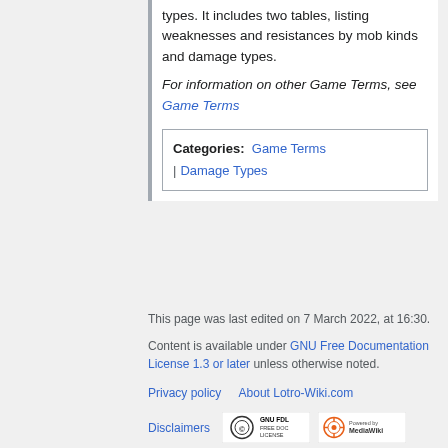types. It includes two tables, listing weaknesses and resistances by mob kinds and damage types.
For information on other Game Terms, see Game Terms
Categories: Game Terms | Damage Types
This page was last edited on 7 March 2022, at 16:30.
Content is available under GNU Free Documentation License 1.3 or later unless otherwise noted.
Privacy policy   About Lotro-Wiki.com   Disclaimers